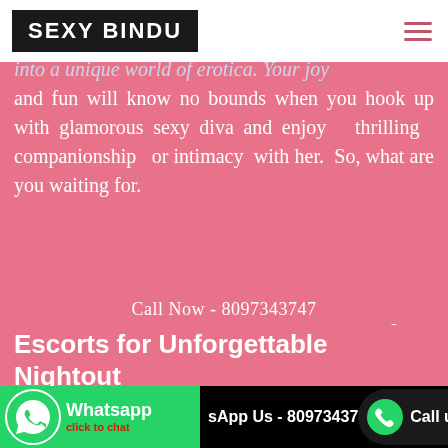SEXY BINDU
into a unique world of erotica. Your joy and fun will know no bounds when you hook up with glamorous sexy diva and enjoy thrilling companionship or intimacy with her. So, what are you waiting for.
Contact Your Preferred surabaya Escorts for Unforgettable Nightout
Whether you desire to get finest dinner
Call Now - 8097343747 | WhatsApp Us - 80973437 | Call us Now.